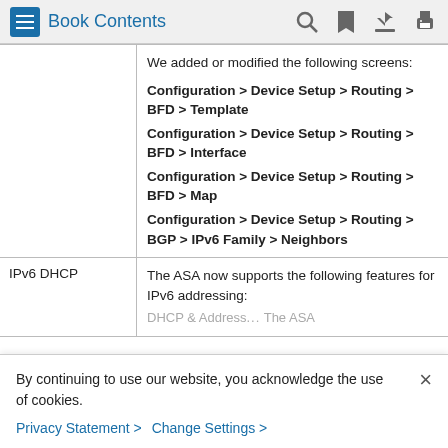Book Contents
|  |  |
| --- | --- |
|  | We added or modified the following screens:
Configuration > Device Setup > Routing > BFD > Template
Configuration > Device Setup > Routing > BFD > Interface
Configuration > Device Setup > Routing > BFD > Map
Configuration > Device Setup > Routing > BGP > IPv6 Family > Neighbors |
| IPv6 DHCP | The ASA now supports the following features for IPv6 addressing:
DHCP & Address... |
By continuing to use our website, you acknowledge the use of cookies.
Privacy Statement > Change Settings >